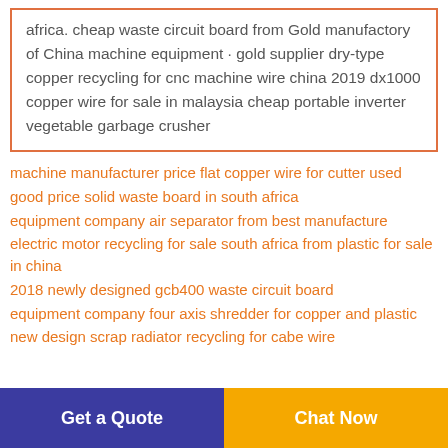africa. cheap waste circuit board from Gold manufactory of China machine equipment · gold supplier dry-type copper recycling for cnc machine wire china 2019 dx1000 copper wire for sale in malaysia cheap portable inverter vegetable garbage crusher
machine manufacturer price flat copper wire for cutter used
good price solid waste board in south africa
equipment company air separator from best manufacture
electric motor recycling for sale south africa from plastic for sale in china
2018 newly designed gcb400 waste circuit board
equipment company four axis shredder for copper and plastic
new design scrap radiator recycling for cabe wire